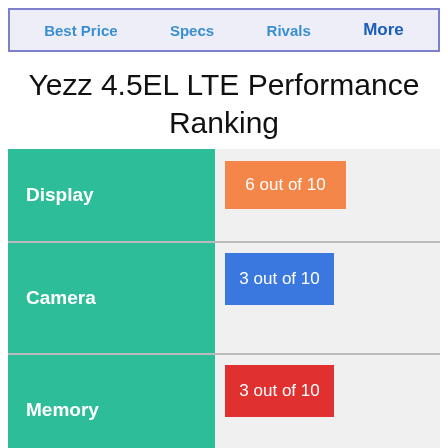Best Price   Specs   Rivals   More
Yezz 4.5EL LTE Performance Ranking
| Category | Score |
| --- | --- |
| Display | 6 out of 10 |
| Camera | 3 out of 10 |
| Memory | 3 out of 10 |